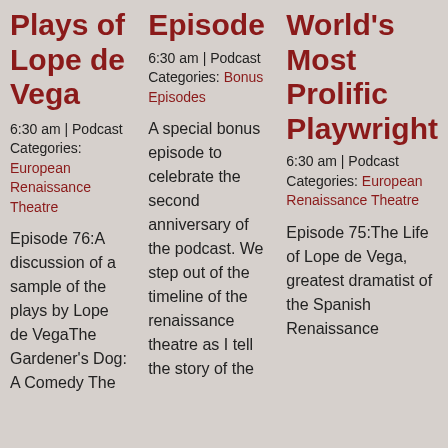Plays of Lope de Vega
6:30 am | Podcast Categories: European Renaissance Theatre
Episode 76:A discussion of a sample of the plays by Lope de VegaThe Gardener's Dog: A Comedy The
Episode
6:30 am | Podcast Categories: Bonus Episodes
A special bonus episode to celebrate the second anniversary of the podcast. We step out of the timeline of the renaissance theatre as I tell the story of the
World's Most Prolific Playwright
6:30 am | Podcast Categories: European Renaissance Theatre
Episode 75:The Life of Lope de Vega, greatest dramatist of the Spanish Renaissance